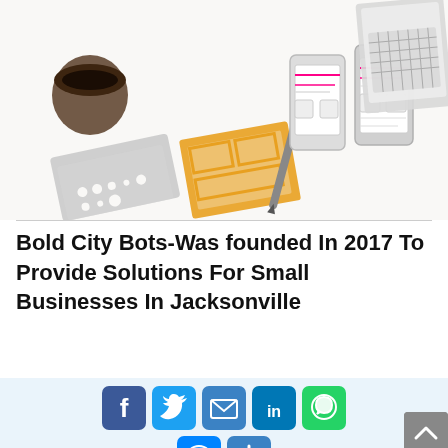[Figure (photo): Overhead flat-lay photo of a white desk with wireframe UI stencils (orange and silver), pencil, mobile phone wireframe mockups, coffee cup, and laptop keyboard visible.]
Bold City Bots-Was founded In 2017 To Provide Solutions For Small Businesses In Jacksonville
[Figure (infographic): Social sharing button row: Facebook (blue), Twitter (blue), Email (blue envelope), LinkedIn (blue), WhatsApp (green); second row: Messenger (blue), Share+ (blue). Back-to-top arrow button (gray) at bottom right. Background shows partial photo of mobile devices.]